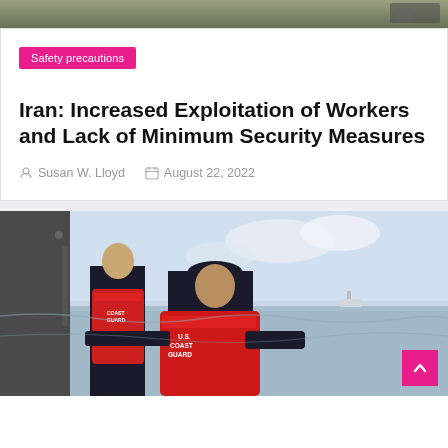[Figure (photo): Top partial image of what appears to be an outdoor scene, cropped at the top of the page]
Safety precautions
Iran: Increased Exploitation of Workers and Lack of Minimum Security Measures
Susan W. Lloyd   August 22, 2022
[Figure (photo): Two US Coast Guard officers wearing red life vests labeled 'U.S. COAST GUARD' standing on a boat looking out at open water, viewed from behind]